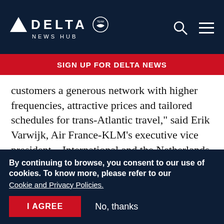DELTA NEWS HUB
SIGN UP FOR DELTA NEWS
customers a generous network with higher frequencies, attractive prices and tailored schedules for trans-Atlantic travel," said Erik Varwijk, Air France-KLM's executive vice president – International and the Netherlands.
"New service to London-Heathrow and Amsterdam on Delta and KLM further enhances
By continuing to browse, you consent to our use of cookies. To know more, please refer to our Cookie and Privacy Policies.
I AGREE | No, thanks